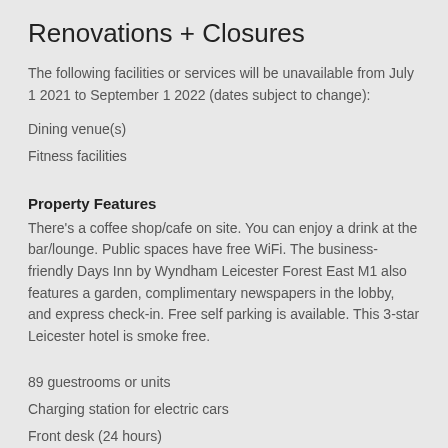Renovations + Closures
The following facilities or services will be unavailable from July 1 2021 to September 1 2022 (dates subject to change):
Dining venue(s)
Fitness facilities
Property Features
There’s a coffee shop/cafe on site. You can enjoy a drink at the bar/lounge. Public spaces have free WiFi. The business-friendly Days Inn by Wyndham Leicester Forest East M1 also features a garden, complimentary newspapers in the lobby, and express check-in. Free self parking is available. This 3-star Leicester hotel is smoke free.
89 guestrooms or units
Charging station for electric cars
Front desk (24 hours)
Express check-in
Express check-out
Storage area for luggage